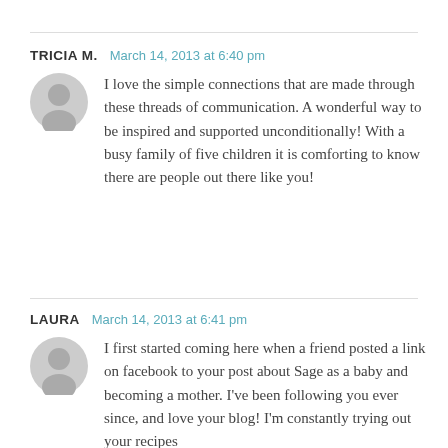TRICIA M.  March 14, 2013 at 6:40 pm

I love the simple connections that are made through these threads of communication. A wonderful way to be inspired and supported unconditionally! With a busy family of five children it is comforting to know there are people out there like you!
LAURA  March 14, 2013 at 6:41 pm

I first started coming here when a friend posted a link on facebook to your post about Sage as a baby and becoming a mother. I've been following you ever since, and love your blog! I'm constantly trying out your recipes